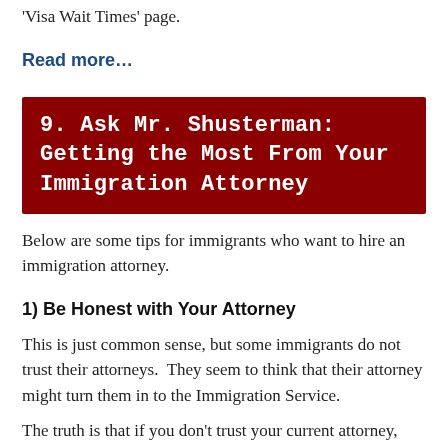Visa Wait Times page.
Read more…
9. Ask Mr. Shusterman: Getting the Most From Your Immigration Attorney
Below are some tips for immigrants who want to hire an immigration attorney.
1) Be Honest with Your Attorney
This is just common sense, but some immigrants do not trust their attorneys.  They seem to think that their attorney might turn them in to the Immigration Service.
The truth is that if you don't trust your current attorney, you'd better find one you trust.
Your attorney's job is to help you qualify for immigration benefits. If you don't tell him or her the truth, he or she cannot